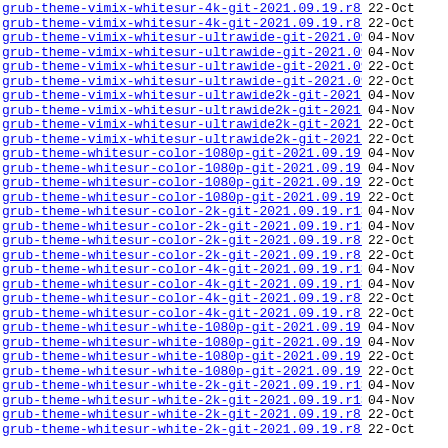grub-theme-vimix-whitesur-4k-git-2021.09.19.r8...> 22-Oct
grub-theme-vimix-whitesur-4k-git-2021.09.19.r8...> 22-Oct
grub-theme-vimix-whitesur-ultrawide-git-2021.09..> 04-Nov
grub-theme-vimix-whitesur-ultrawide-git-2021.09..> 04-Nov
grub-theme-vimix-whitesur-ultrawide-git-2021.09..> 22-Oct
grub-theme-vimix-whitesur-ultrawide-git-2021.09..> 22-Oct
grub-theme-vimix-whitesur-ultrawide2k-git-2021...> 04-Nov
grub-theme-vimix-whitesur-ultrawide2k-git-2021...> 04-Nov
grub-theme-vimix-whitesur-ultrawide2k-git-2021...> 22-Oct
grub-theme-vimix-whitesur-ultrawide2k-git-2021...> 22-Oct
grub-theme-whitesur-color-1080p-git-2021.09.19...> 04-Nov
grub-theme-whitesur-color-1080p-git-2021.09.19...> 04-Nov
grub-theme-whitesur-color-1080p-git-2021.09.19...> 22-Oct
grub-theme-whitesur-color-1080p-git-2021.09.19...> 22-Oct
grub-theme-whitesur-color-2k-git-2021.09.19.r13..> 04-Nov
grub-theme-whitesur-color-2k-git-2021.09.19.r13..> 04-Nov
grub-theme-whitesur-color-2k-git-2021.09.19.r8...> 22-Oct
grub-theme-whitesur-color-2k-git-2021.09.19.r8...> 22-Oct
grub-theme-whitesur-color-4k-git-2021.09.19.r13..> 04-Nov
grub-theme-whitesur-color-4k-git-2021.09.19.r13..> 04-Nov
grub-theme-whitesur-color-4k-git-2021.09.19.r8...> 22-Oct
grub-theme-whitesur-color-4k-git-2021.09.19.r8...> 22-Oct
grub-theme-whitesur-white-1080p-git-2021.09.19...> 04-Nov
grub-theme-whitesur-white-1080p-git-2021.09.19...> 04-Nov
grub-theme-whitesur-white-1080p-git-2021.09.19...> 22-Oct
grub-theme-whitesur-white-1080p-git-2021.09.19...> 22-Oct
grub-theme-whitesur-white-2k-git-2021.09.19.r13..> 04-Nov
grub-theme-whitesur-white-2k-git-2021.09.19.r13..> 04-Nov
grub-theme-whitesur-white-2k-git-2021.09.19.r8...> 22-Oct
grub-theme-whitesur-white-2k-git-2021.09.19.r8...> 22-Oct